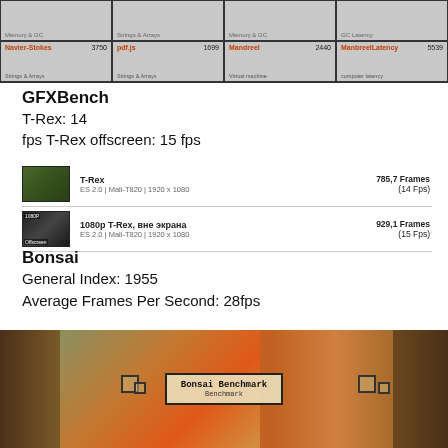[Figure (screenshot): Benchmark results grid showing scores: Navier-Stokes 3750, pdf.js 1699, Mandreel 2440, ManbreelLatency 5539, GB Emulator 2801, CodeLoad 3297, Box2DWeb 2514, zlib 8804]
GFXBench
T-Rex: 14
fps T-Rex offscreen: 15 fps
|  | Name | Score |
| --- | --- | --- |
| [img] | T-Rex
ES 2.0 | Mali-T820 | 1920 x 1080 | 785,7 Frames
(14 Fps) |
| [img] | 1080p T-Rex, вне экрана
ES 2.0 | Mali-T820 | 1920 x 1080 | 929,1 Frames
(15 Fps) |
Bonsai
General Index: 1955
Average Frames Per Second: 28fps
[Figure (screenshot): Bonsai Benchmark app screenshot showing wooden frames and autumn foliage with Bonsai Benchmark logo overlay]